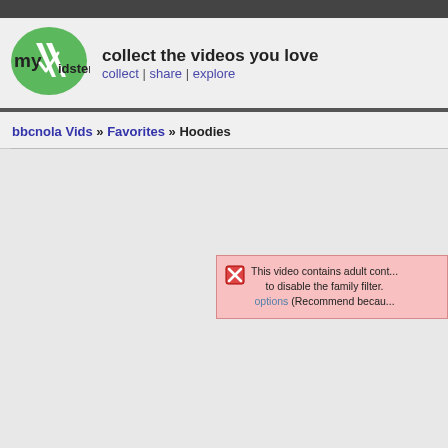myVidster - collect the videos you love - collect | share | explore
bbcnola Vids » Favorites » Hoodies
This video contains adult cont... to disable the family filter. options (Recommend becau...